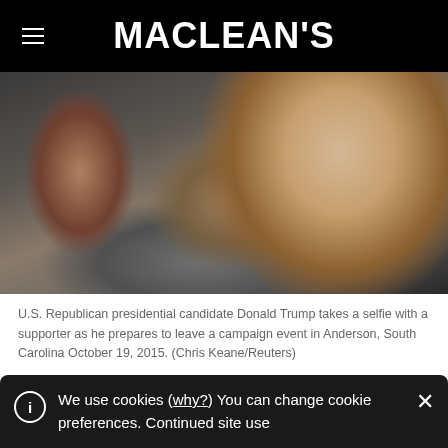MACLEAN'S
[Figure (photo): U.S. Republican presidential candidate Donald Trump takes a selfie with a supporter at a campaign event, surrounded by crowd, Anderson, South Carolina, October 19, 2015. Photo by Chris Keane/Reuters.]
U.S. Republican presidential candidate Donald Trump takes a selfie with a supporter as he prepares to leave a campaign event in Anderson, South Carolina October 19, 2015. (Chris Keane/Reuters)
We use cookies (why?) You can change cookie preferences. Continued site use